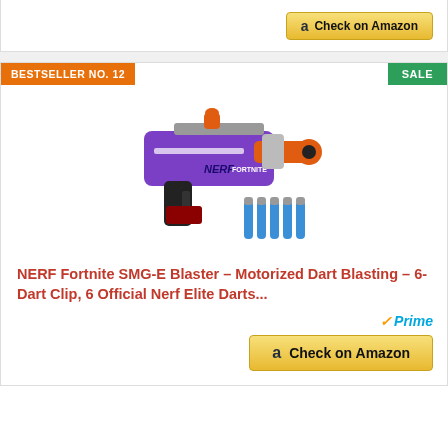[Figure (other): Amazon 'Check on Amazon' button at top of page]
BESTSELLER NO. 12
SALE
[Figure (photo): NERF Fortnite SMG-E Blaster in purple and orange with 6 blue darts shown next to it]
NERF Fortnite SMG-E Blaster -- Motorized Dart Blasting -- 6-Dart Clip, 6 Official Nerf Elite Darts...
[Figure (logo): Amazon Prime logo]
[Figure (other): Amazon 'Check on Amazon' button at bottom of product card]